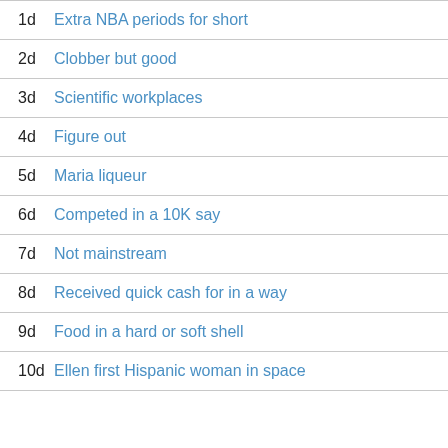1d Extra NBA periods for short
2d Clobber but good
3d Scientific workplaces
4d Figure out
5d Maria liqueur
6d Competed in a 10K say
7d Not mainstream
8d Received quick cash for in a way
9d Food in a hard or soft shell
10d Ellen first Hispanic woman in space